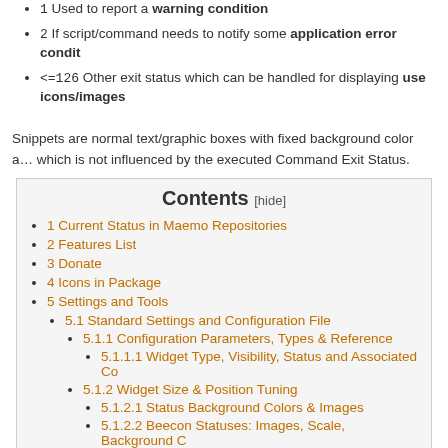1 Used to report a warning condition
2 If script/command needs to notify some application error condit…
<=126 Other exit status which can be handled for displaying use… icons/images
Snippets are normal text/graphic boxes with fixed background color a… which is not influenced by the executed Command Exit Status.
Contents [hide]
1 Current Status in Maemo Repositories
2 Features List
3 Donate
4 Icons in Package
5 Settings and Tools
5.1 Standard Settings and Configuration File
5.1.1 Configuration Parameters, Types & Reference
5.1.1.1 Widget Type, Visibility, Status and Associated Co…
5.1.2 Widget Size & Position Tuning
5.1.2.1 Status Background Colors & Images
5.1.2.2 Beecon Statuses: Images, Scale, Background C…